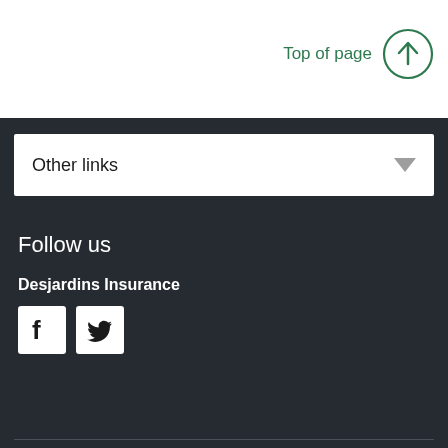Top of page
Other links
Follow us
Desjardins Insurance
[Figure (illustration): Facebook and Twitter social media icons in white squares]